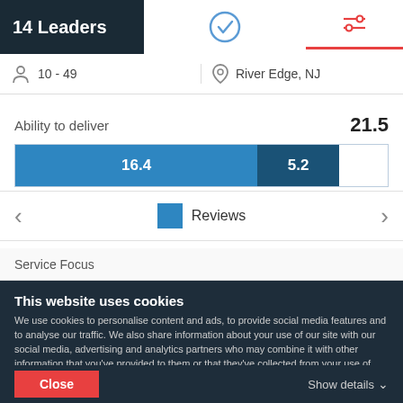14 Leaders
[Figure (screenshot): Checkmark icon (circle with tick) in the navigation bar]
[Figure (screenshot): Settings/filter icon with a red underline indicating active tab]
10 - 49
River Edge, NJ
Ability to deliver
21.5
[Figure (stacked-bar-chart): Ability to deliver]
Reviews
Service Focus
This website uses cookies
We use cookies to personalise content and ads, to provide social media features and to analyse our traffic. We also share information about your use of our site with our social media, advertising and analytics partners who may combine it with other information that you've provided to them or that they've collected from your use of their services. You agree to our cookies if you continue to use our website.
Close
Show details